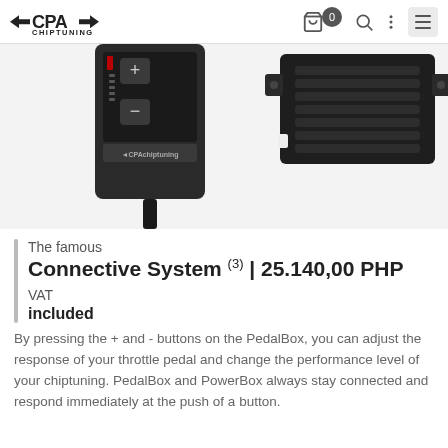CPA Chiptuning
[Figure (photo): Two CPA Chiptuning devices: a PedalBox controller with + and - buttons and red LED indicators, and a PowerBox black module with ribbed vents and mounting brackets, shown against a white background.]
The famous
Connective System (3) | 25.140,00 PHP VAT included
By pressing the + and - buttons on the PedalBox, you can adjust the response of your throttle pedal and change the performance level of your chiptuning. PedalBox and PowerBox always stay connected and respond immediately at the push of a button.